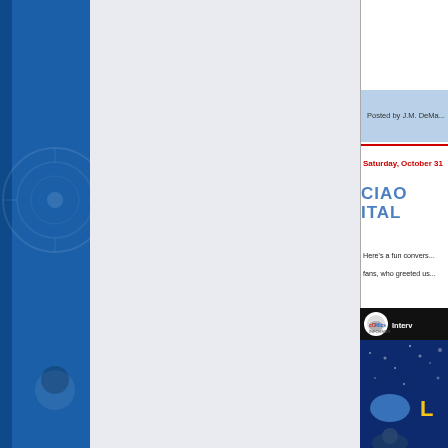[Figure (illustration): Blue sidebar with decorative circular pattern on left side of page]
Posted by J.M. DeMa...
Saturday, October 31
CIAO ITAL...
Here's a fun convers... fans, who greeted us...
[Figure (screenshot): Video thumbnail showing Comics Informer YouTube channel interview, with sparkle blue background and a partial yellow letter L visible, and a face at bottom]